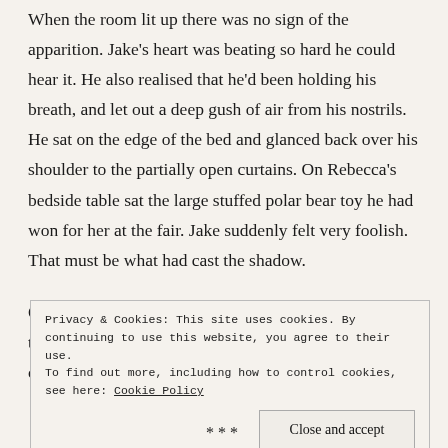When the room lit up there was no sign of the apparition. Jake's heart was beating so hard he could hear it. He also realised that he'd been holding his breath, and let out a deep gush of air from his nostrils. He sat on the edge of the bed and glanced back over his shoulder to the partially open curtains. On Rebecca's bedside table sat the large stuffed polar bear toy he had won for her at the fair. Jake suddenly felt very foolish. That must be what had cast the shadow.
Once his pulse and breathing had returned to normal he turned his lamp back off and climbed into bed. It was cold, like on a
Privacy & Cookies: This site uses cookies. By continuing to use this website, you agree to their use.
To find out more, including how to control cookies, see here: Cookie Policy
Close and accept
***